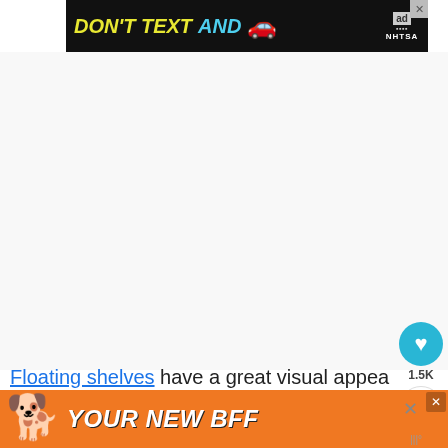[Figure (screenshot): Top advertisement banner: black background with 'DON'T TEXT AND' in yellow/cyan italic bold text, red car emoji, ad badge and NHTSA logo, with close X button]
[Figure (screenshot): Large white blank content area (ad space or loading content)]
[Figure (screenshot): Teal circular like/heart button with heart icon and 1.5K count below, and share button below that]
Floating shelves have a great visual appea...
Floating shelves are built so that, unlike the
[Figure (screenshot): Bottom advertisement banner: orange background with dog photo, 'YOUR NEW BFF' in white bold italic text, close X button]